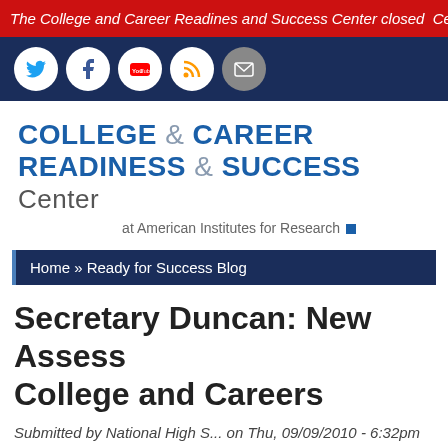The College and Career Readines and Success Center closed and Centers ended. The information on this website will no longer be
[Figure (infographic): Navigation social media icons bar: Twitter, Facebook, YouTube, RSS feed, and email icons on dark navy blue background]
[Figure (logo): College & Career Readiness & Success Center at American Institutes for Research logo]
Home » Ready for Success Blog
Secretary Duncan: New Assess College and Careers
Submitted by National High S... on Thu, 09/09/2010 - 6:32pm